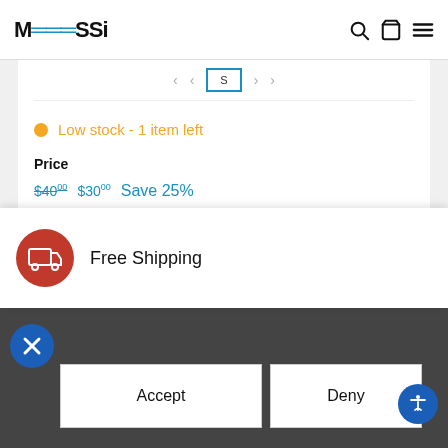MESSI
Low stock - 1 item left
Price
$40.00  $30.00  Save 25%
Shipping calculated at checkout.
Add to cart
Free Shipping
Accept
Deny